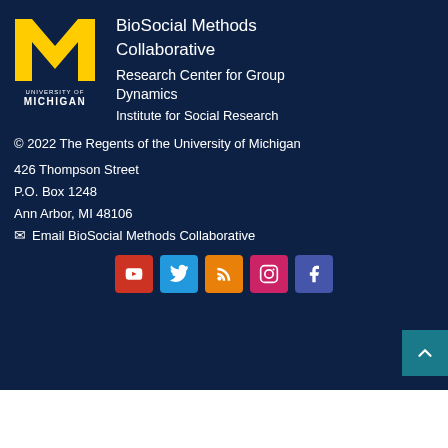[Figure (logo): University of Michigan block M logo in yellow/gold with white text reading UNIVERSITY OF MICHIGAN below]
BioSocial Methods Collaborative
Research Center for Group Dynamics
Institute for Social Research
© 2022 The Regents of the University of Michigan
426 Thompson Street
P.O. Box 1248
Ann Arbor, MI 48106
✉ Email BioSocial Methods Collaborative
[Figure (infographic): Row of 5 social media icon buttons: YouTube (red), Twitter (blue), RSS (orange), Instagram (pink/red), Facebook (blue-purple)]